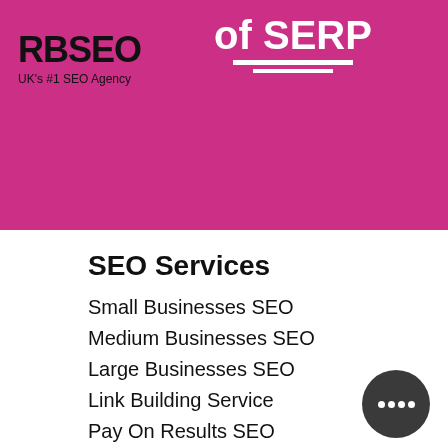[Figure (other): Magenta/pink banner header with RBSEO logo on left and large white text 'Get on the First Page of SERP' with underline dashes on right]
SEO Services
Small Businesses SEO
Medium Businesses SEO
Large Businesses SEO
Link Building Service
Pay On Results SEO
SEO Reseller
PPC Advertising
Google Advertising
Blogger Outreach Service
Link Building Company
Email Marketing
Local SEO Services